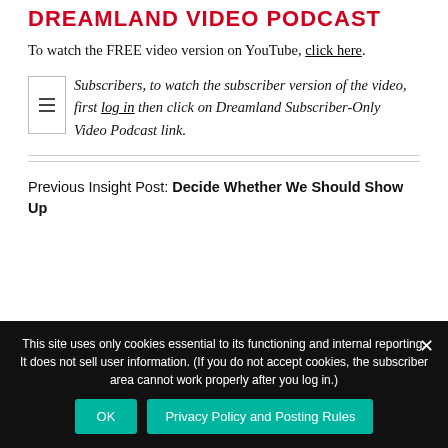DREAMLAND VIDEO PODCAST
To watch the FREE video version on YouTube, click here.
Subscribers, to watch the subscriber version of the video, first log in then click on Dreamland Subscriber-Only Video Podcast link.
Previous Insight Post: Decide Whether We Should Show Up
This site uses only cookies essential to its functioning and internal reporting. It does not sell user information. (If you do not accept cookies, the subscriber area cannot work properly after you log in.)